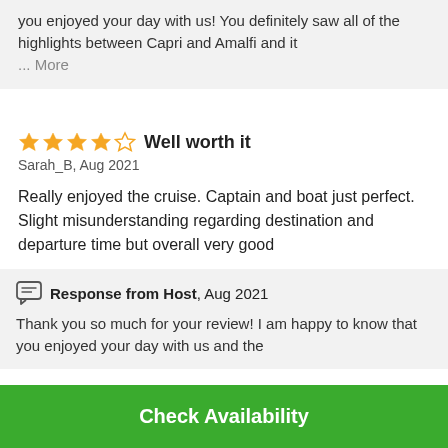you enjoyed your day with us! You definitely saw all of the highlights between Capri and Amalfi and it ... More
Well worth it
Sarah_B, Aug 2021
Really enjoyed the cruise. Captain and boat just perfect. Slight misunderstanding regarding destination and departure time but overall very good
Response from Host, Aug 2021
Thank you so much for your review! I am happy to know that you enjoyed your day with us and the
Check Availability